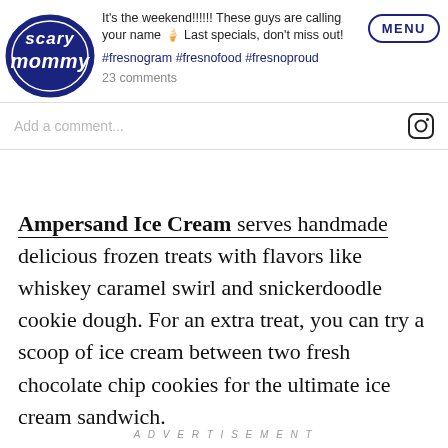[Figure (logo): Scary Mommy logo — circular dark navy badge with cursive text 'Scary Mommy']
It's the weekend!!!!!! These guys are calling your name 🍦 Last specials, don't miss out!
#fresnogram #fresnofood #fresnoproud
23 comments
Add a comment...
MENU
Ampersand Ice Cream serves handmade delicious frozen treats with flavors like whiskey caramel swirl and snickerdoodle cookie dough. For an extra treat, you can try a scoop of ice cream between two fresh chocolate chip cookies for the ultimate ice cream sandwich.
ADVERTISEMENT